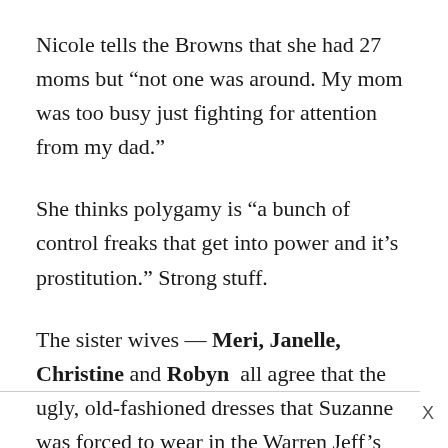Nicole tells the Browns that she had 27 moms but “not one was around. My mom was too busy just fighting for attention from my dad.”
She thinks polygamy is “a bunch of control freaks that get into power and it’s prostitution.” Strong stuff.
The sister wives — Meri, Janelle, Christine and Robyn  all agree that the ugly, old-fashioned dresses that Suzanne was forced to wear in the Warren Jeff’s FLDS community were dresses “of oppression.”